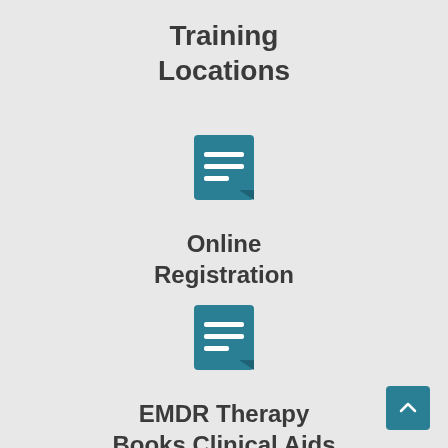Training Locations
[Figure (illustration): Teal document/notepad icon with white horizontal lines]
Online Registration
[Figure (illustration): Teal document/notepad icon with white horizontal lines]
EMDR Therapy Books Clinical Aids